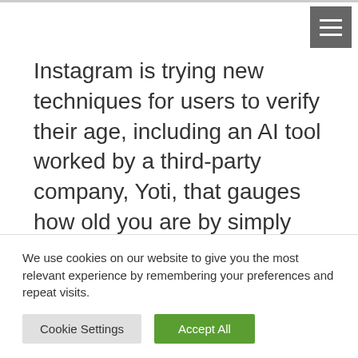[Figure (other): Hamburger menu icon (three horizontal white lines on grey square background) in top-right corner]
Instagram is trying new techniques for users to verify their age, including an AI tool worked by a third-party company, Yoti, that gauges how old you are by simply scanning your face.
Authoritatively, you must be somewhere around 13 years of age to sign up for an Instagram account, however for it and...
We use cookies on our website to give you the most relevant experience by remembering your preferences and repeat visits.